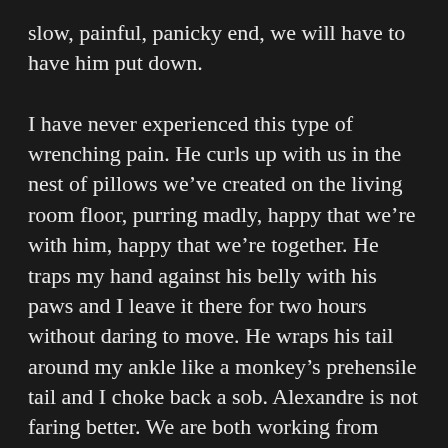slow, painful, panicky end, we will have to have him put down.
I have never experienced this type of wrenching pain. He curls up with us in the nest of pillows we've created on the living room floor, purring madly, happy that we're with him, happy that we're together. He traps my hand against his belly with his paws and I leave it there for two hours without daring to move. He wraps his tail around my ankle like a monkey's prehensile tail and I choke back a sob. Alexandre is not faring better. We are both working from home this week and constantly breaking down into tears. It is all so, so hard. Our little cat transformed us from a couple into